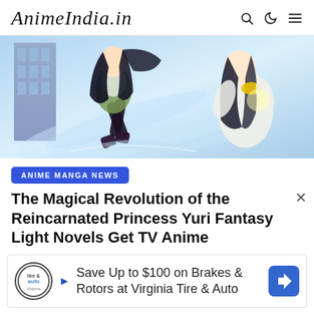AnimeIndia.in
[Figure (illustration): Anime illustration scene showing two characters — one with dark hair in dark stockings and green outfit, the other in white flowing robes — set against a blue sky background with swirling wind effects.]
ANIME MANGA NEWS
The Magical Revolution of the Reincarnated Princess Yuri Fantasy Light Novels Get TV Anime
Save Up to $100 on Brakes & Rotors at Virginia Tire & Auto